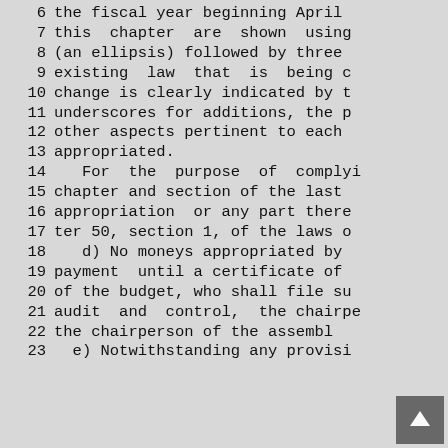6   the fiscal year beginning April
7   this chapter are shown using
8   (an ellipsis) followed by three
9   existing law that is being c
10  change is clearly indicated by t
11  underscores for additions, the p
12  other aspects pertinent to each
13  appropriated.
14    For the purpose of complyi
15  chapter and section of the last
16  appropriation or any part there
17  ter 50, section 1, of the laws o
18    d) No moneys appropriated by
19  payment until a certificate of
20  of the budget, who shall file su
21  audit and control, the chairpe
22  the chairperson of the assembly
23    e) Notwithstanding any provisi